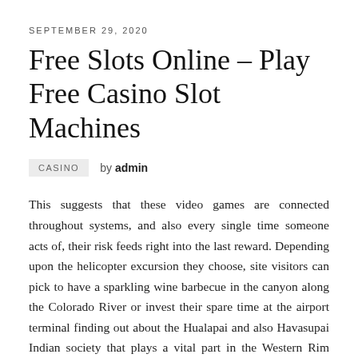SEPTEMBER 29, 2020
Free Slots Online – Play Free Casino Slot Machines
CASINO   by admin
This suggests that these video games are connected throughout systems, and also every single time someone acts of, their risk feeds right into the last reward. Depending upon the helicopter excursion they choose, site visitors can pick to have a sparkling wine barbecue in the canyon along the Colorado River or invest their spare time at the airport terminal finding out about the Hualapai and also Havasupai Indian society that plays a vital part in the Western Rim location. Our traditional on-line ports can be discovered on